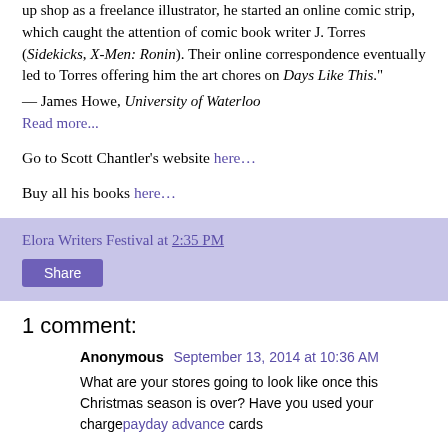up shop as a freelance illustrator, he started an online comic strip, which caught the attention of comic book writer J. Torres (Sidekicks, X-Men: Ronin). Their online correspondence eventually led to Torres offering him the art chores on Days Like This." — James Howe, University of Waterloo
Read more...
Go to Scott Chantler's website here…
Buy all his books here…
Elora Writers Festival at 2:35 PM
Share
1 comment:
Anonymous September 13, 2014 at 10:36 AM
What are your stores going to look like once this Christmas season is over? Have you used your chargepayday advance cards